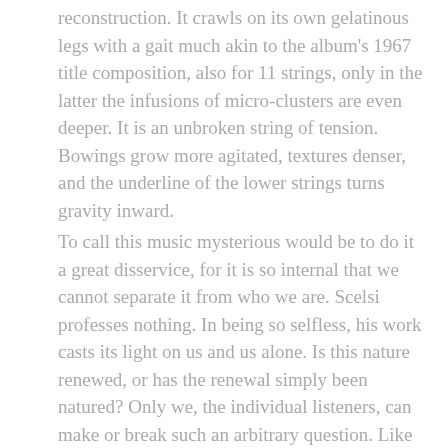reconstruction. It crawls on its own gelatinous legs with a gait much akin to the album's 1967 title composition, also for 11 strings, only in the latter the infusions of micro-clusters are even deeper. It is an unbroken string of tension. Bowings grow more agitated, textures denser, and the underline of the lower strings turns gravity inward.
To call this music mysterious would be to do it a great disservice, for it is so internal that we cannot separate it from who we are. Scelsi professes nothing. In being so selfless, his work casts its light on us and us alone. Is this nature renewed, or has the renewal simply been natured? Only we, the individual listeners, can make or break such an arbitrary question. Like the circle above the horizon of Scelsi's signature we may never know whether it is rising or setting, but we can always be sure that it is singing.